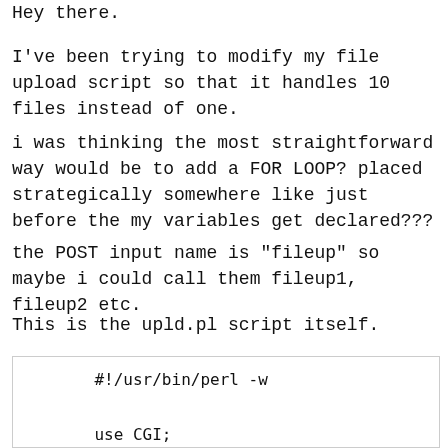Hey there.
I've been trying to modify my file upload script so that it handles 10 files instead of one.
i was thinking the most straightforward way would be to add a FOR LOOP? placed strategically somewhere like just before the my variables get declared???
the POST input name is "fileup" so maybe i could call them fileup1, fileup2 etc.
This is the upld.pl script itself.
[Figure (screenshot): Code block showing beginning of a Perl CGI script: #!/usr/bin/perl -w, use CGI;, use CGI::Carp "fatalsToBrowser";, use strict;]